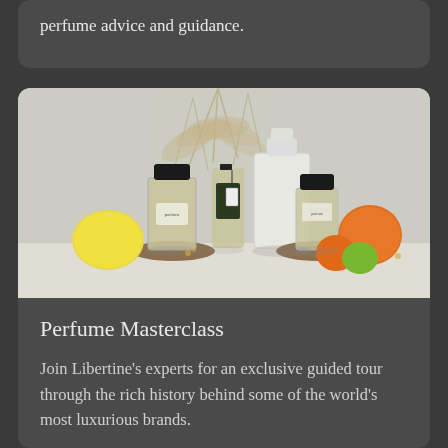perfume advice and guidance.
[Figure (photo): Arrangement of luxury perfume bottles with fruits (lemon, orange, lime, tangerine) and dried grasses on a wooden surface against a light grey background. Multiple perfume bottles of different shapes visible.]
Perfume Masterclass
Join Libertine's experts for an exclusive guided tour through the rich history behind some of the world's most luxurious brands.